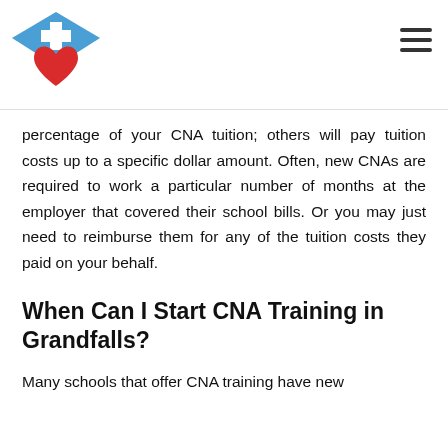[Figure (logo): Nurse/healthcare logo with blue diamond nurse cap shape containing a white cross, and a red heart below it]
percentage of your CNA tuition; others will pay tuition costs up to a specific dollar amount. Often, new CNAs are required to work a particular number of months at the employer that covered their school bills. Or you may just need to reimburse them for any of the tuition costs they paid on your behalf.
When Can I Start CNA Training in Grandfalls?
Many schools that offer CNA training have new